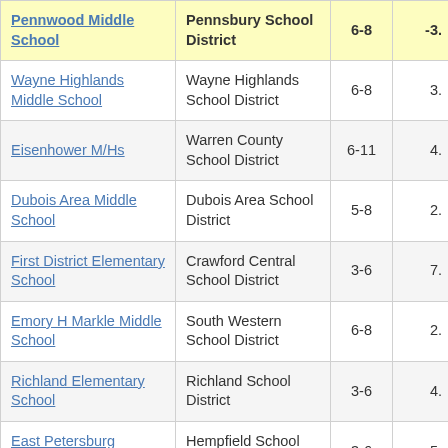| School | District | Grades | Score |
| --- | --- | --- | --- |
| Pennwood Middle School | Pennsbury School District | 6-8 | -3. |
| Wayne Highlands Middle School | Wayne Highlands School District | 6-8 | 3. |
| Eisenhower M/Hs | Warren County School District | 6-11 | 4. |
| Dubois Area Middle School | Dubois Area School District | 5-8 | 2. |
| First District Elementary School | Crawford Central School District | 3-6 | 7. |
| Emory H Markle Middle School | South Western School District | 6-8 | 2. |
| Richland Elementary School | Richland School District | 3-6 | 4. |
| East Petersburg Elementary School | Hempfield School District | 3-6 | 5. |